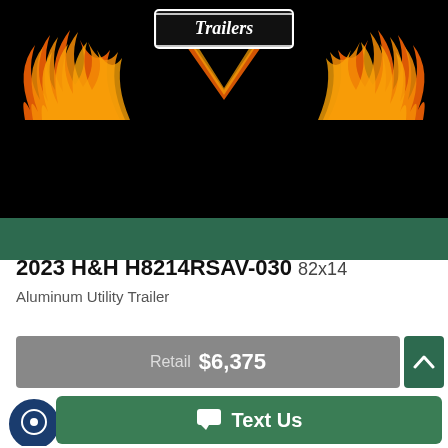[Figure (logo): H&H Trailers logo with flame design on black background]
2023 H&H H8214RSAV-030 82x14
Aluminum Utility Trailer
Retail $6,375
Text Us